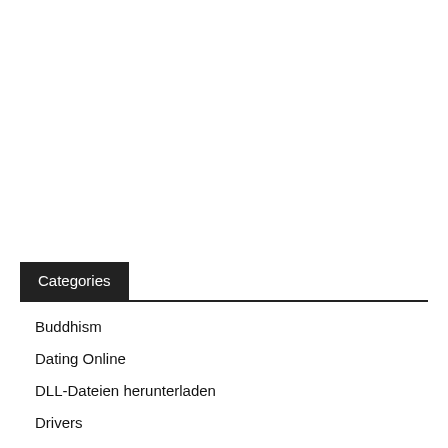Categories
Buddhism
Dating Online
DLL-Dateien herunterladen
Drivers
Hindusim
Jainism